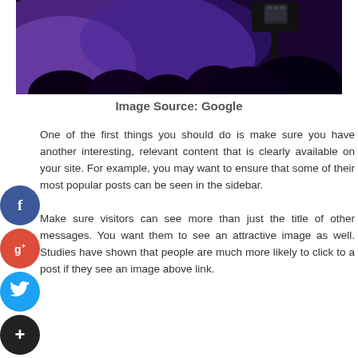[Figure (photo): A blurred photo of a concert or event scene with purple/blue lighting and a camera/smartphone silhouette in the foreground right]
Image Source: Google
One of the first things you should do is make sure you have another interesting, relevant content that is clearly available on your site. For example, you may want to ensure that some of their most popular posts can be seen in the sidebar.

Make sure visitors can see more than just the title of other messages. You want them to see an attractive image as well. Studies have shown that people are much more likely to click to a post if they see an image above link.